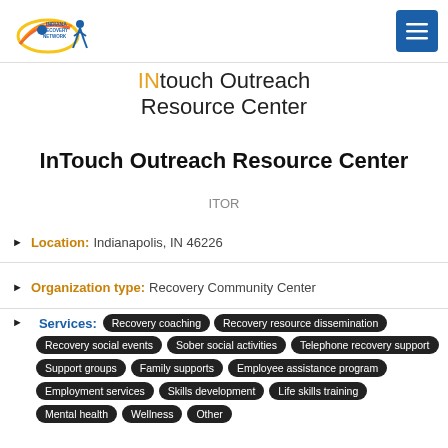INtouch Outreach Resource Center [logo + menu]
INtouch Outreach Resource Center
InTouch Outreach Resource Center
ITOR
Location: Indianapolis, IN 46226
Organization type: Recovery Community Center
Services: Recovery coaching, Recovery resource dissemination, Recovery social events, Sober social activities, Telephone recovery support, Support groups, Family supports, Employee assistance program, Employment services, Skills development, Life skills training, Mental health, Wellness, Other